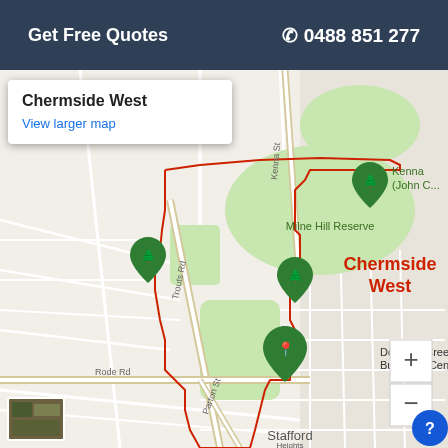Get Free Quotes   ☎ 0488 851 277
[Figure (map): Google Maps embed showing Chermside West suburb in Brisbane, Queensland, Australia. The suburb boundary is outlined in red. Visible landmarks include Milne Hill Reserve, Kenna (John C...) park, Downfall Creek Bushland Centre. Street labels include Trouts Rd, Rode Rd, Parton St, Kenna St. Area to south shows 'Stafford Heights'. Map popup shows 'Chermside West' with 'View larger map' link. Zoom controls (+/-) visible bottom right. Satellite thumbnail bottom left.]